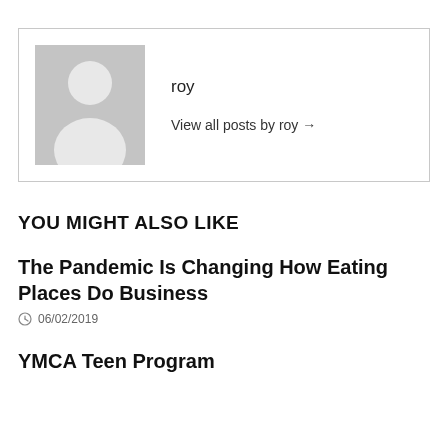[Figure (illustration): Gray placeholder avatar image showing a silhouette of a person (head and shoulders) on a gray background]
roy
View all posts by roy →
YOU MIGHT ALSO LIKE
The Pandemic Is Changing How Eating Places Do Business
06/02/2019
YMCA Teen Program